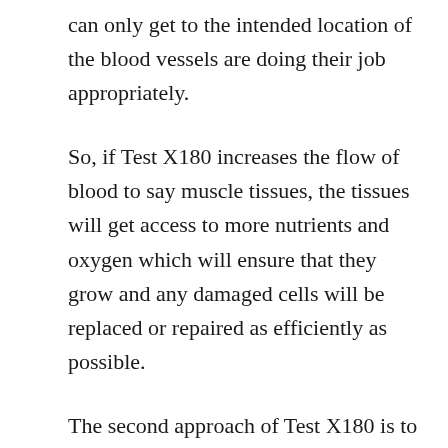can only get to the intended location of the blood vessels are doing their job appropriately.
So, if Test X180 increases the flow of blood to say muscle tissues, the tissues will get access to more nutrients and oxygen which will ensure that they grow and any damaged cells will be replaced or repaired as efficiently as possible.
The second approach of Test X180 is to boost testosterone levels. I believe that you are already aware that t-levels are crucial when it comes to matters masculinity. T-levels determine how active you are, how fast you can